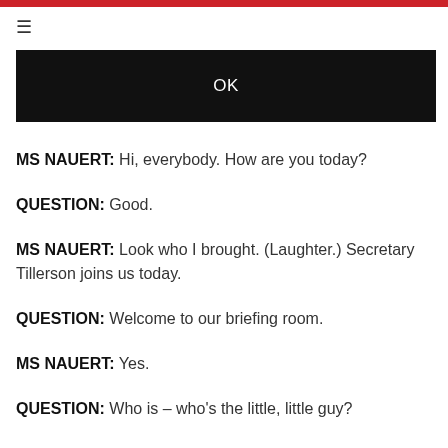≡
[Figure (screenshot): Black banner with white text 'OK' centered]
MS NAUERT: Hi, everybody. How are you today?
QUESTION: Good.
MS NAUERT: Look who I brought. (Laughter.) Secretary Tillerson joins us today.
QUESTION: Welcome to our briefing room.
MS NAUERT: Yes.
QUESTION: Who is – who's the little, little guy?